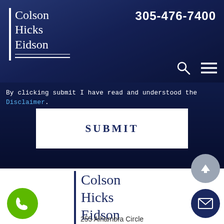[Figure (logo): Colson Hicks Eidson law firm logo in white on dark blue header, with vertical bar and two horizontal underlines]
305-476-7400
By clicking submit I have read and understood the Disclaimer.
SUBMIT
[Figure (logo): Colson Hicks Eidson law firm logo in dark navy on white background in footer section]
255 Alhambra Circle